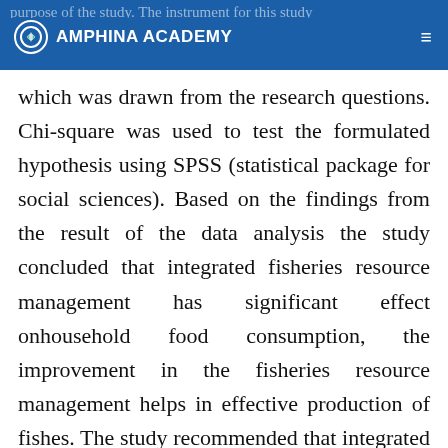AMPHINA ACADEMY
purpose of the study. The instrument for this study is questionnaire constructed by the researcher which was drawn from the research questions. Chi-square was used to test the formulated hypothesis using SPSS (statistical package for social sciences). Based on the findings from the result of the data analysis the study concluded that integrated fisheries resource management has significant effect onhousehold food consumption, the improvement in the fisheries resource management helps in effective production of fishes. The study recommended that integrated fish farming should be encouraged as it helps reduce the overly cost of food so as to promote food consumption.